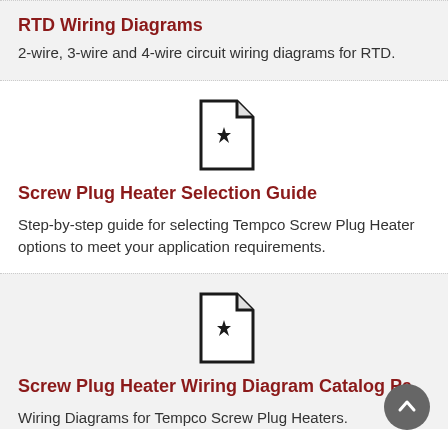RTD Wiring Diagrams
2-wire, 3-wire and 4-wire circuit wiring diagrams for RTD.
[Figure (other): PDF document icon]
Screw Plug Heater Selection Guide
Step-by-step guide for selecting Tempco Screw Plug Heater options to meet your application requirements.
[Figure (other): PDF document icon]
Screw Plug Heater Wiring Diagram Catalog Pa
Wiring Diagrams for Tempco Screw Plug Heaters.